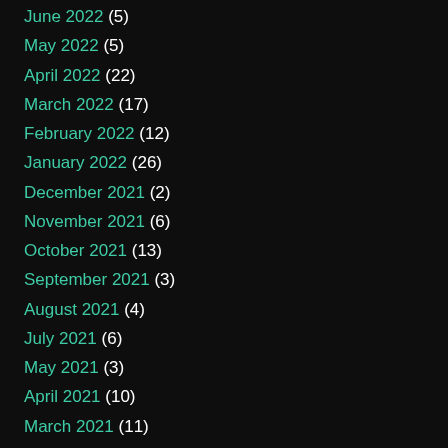June 2022 (5)
May 2022 (5)
April 2022 (22)
March 2022 (17)
February 2022 (12)
January 2022 (26)
December 2021 (2)
November 2021 (6)
October 2021 (13)
September 2021 (3)
August 2021 (4)
July 2021 (6)
May 2021 (3)
April 2021 (10)
March 2021 (11)
October 2020 (8)